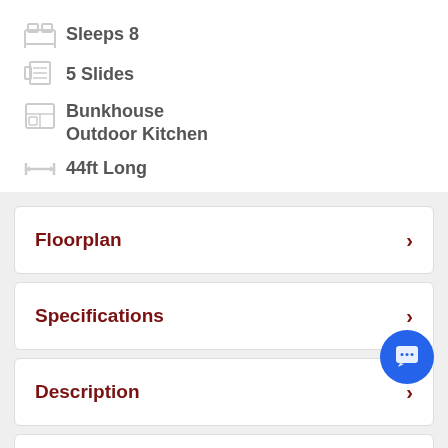Sleeps 8
44ft Long
5 Slides
13,115 lbs
Bunkhouse Outdoor Kitchen
Floorplan
Specifications
Description
Features